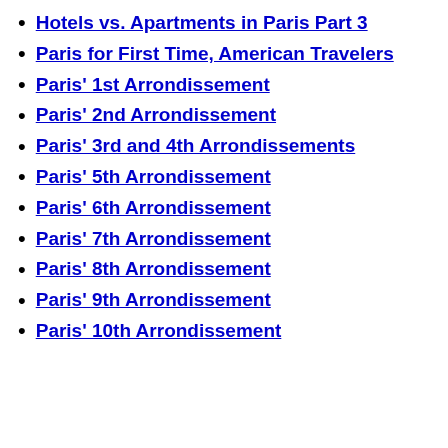Hotels vs. Apartments in Paris Part 3
Paris for First Time, American Travelers
Paris' 1st Arrondissement
Paris' 2nd Arrondissement
Paris' 3rd and 4th Arrondissements
Paris' 5th Arrondissement
Paris' 6th Arrondissement
Paris' 7th Arrondissement
Paris' 8th Arrondissement
Paris' 9th Arrondissement
Paris' 10th Arrondissement